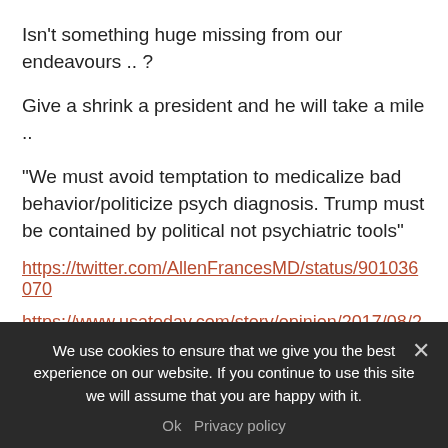Isn't something huge missing from our endeavours .. ?
Give a shrink a president and he will take a mile ..
“We must avoid temptation to medicalize bad behavior/politicize psych diagnosis. Trump must be contained by political not psychiatric tools”
https://twitter.com/AllenFrancesMD/status/901036070
https://www.usatoday.com/story/opinion/2017/08/24/la
We use cookies to ensure that we give you the best experience on our website. If you continue to use this site we will assume that you are happy with it.
Ok  Privacy policy